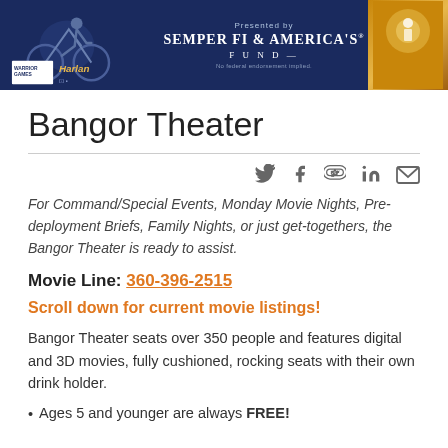[Figure (other): Warrior Games / Harlan header banner with cycling athlete silhouette on left, Semper Fi & America's Fund logo in center, golden floral background on right]
Bangor Theater
[Figure (other): Social media icons row: Twitter, Facebook, Google+, LinkedIn, Email]
For Command/Special Events, Monday Movie Nights, Pre-deployment Briefs, Family Nights, or just get-togethers, the Bangor Theater is ready to assist.
Movie Line: 360-396-2515
Scroll down for current movie listings!
Bangor Theater seats over 350 people and features digital and 3D movies, fully cushioned, rocking seats with their own drink holder.
Ages 5 and younger are always FREE!